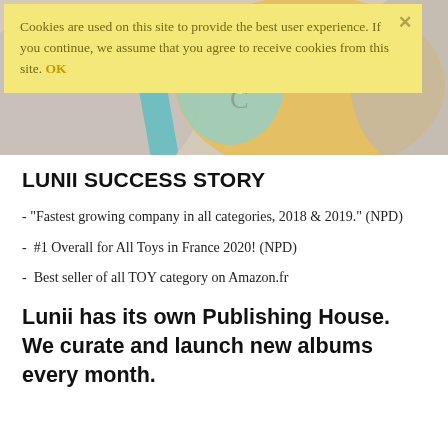[Figure (photo): Blurred photo of colorful baby/children toys or accessories in teal, yellow, and gray tones]
Cookies are used on this site to provide the best user experience. If you continue, we assume that you agree to receive cookies from this site. OK
LUNII SUCCESS STORY
- "Fastest growing company in all categories, 2018 & 2019." (NPD)
- #1 Overall for All Toys in France 2020! (NPD)
- Best seller of all TOY category on Amazon.fr
Lunii has its own Publishing House. We curate and launch new albums every month.